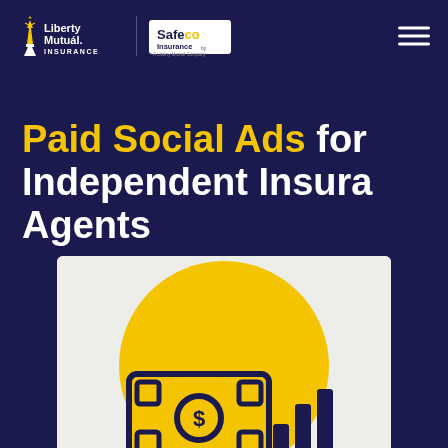Liberty Mutual Insurance | Safeco Insurance
Paid Social Ads for Independent Insurance Agents
[Figure (illustration): Illustration on light gray background showing a large yellow circle above a dark navy-outlined icon of a money bill with a dollar sign coin and a bar chart element, representing paid social advertising budget concept.]